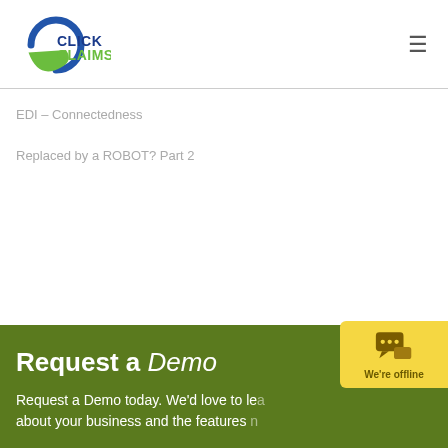[Figure (logo): ClickClaims logo with circular blue and green swoosh icon and text CLICKCLAIMS]
EDI – Connectedness
Replaced by a ROBOT? Part 2
Request a Demo
Request a Demo today. We'd love to learn about your business and the features h...